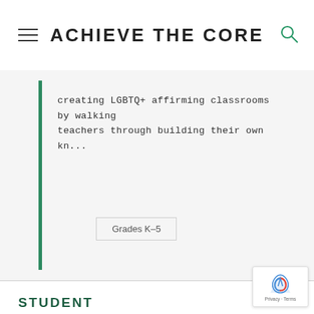ACHIEVE THE CORE
creating LGBTQ+ affirming classrooms by walking teachers through building their own kn...
Grades K–5
STUDENT ACHIEVEMENT PARTNERS
Contact Us
Research and Articles